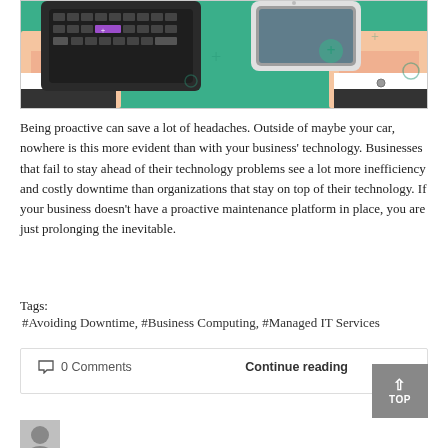[Figure (illustration): Illustration showing two cartoon hands in business attire using a keyboard and smartphone on a green desk surface]
Being proactive can save a lot of headaches. Outside of maybe your car, nowhere is this more evident than with your business' technology. Businesses that fail to stay ahead of their technology problems see a lot more inefficiency and costly downtime than organizations that stay on top of their technology. If your business doesn't have a proactive maintenance platform in place, you are just prolonging the inevitable.
Tags:
#Avoiding Downtime, #Business Computing, #Managed IT Services
0 Comments
Continue reading
[Figure (illustration): Avatar placeholder icon showing a person silhouette]